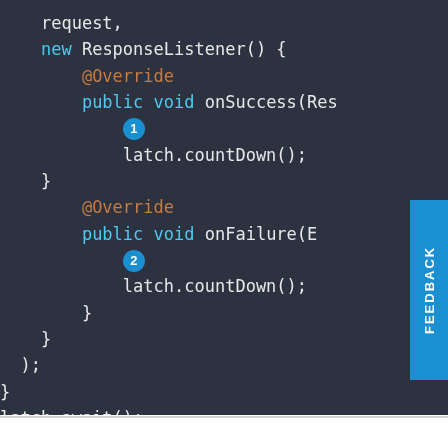[Figure (screenshot): Dark-themed code editor screenshot showing Java/Android code snippet with ResponseListener anonymous class, @Override annotations, onSuccess and onFailure methods, latch.countDown() calls, badges numbered 1 and 2 marking key lines, and a FEEDBACK tab on the right side.]